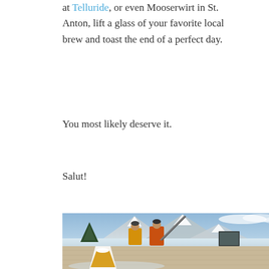at Telluride, or even Mooserwirt in St. Anton, lift a glass of your favorite local brew and toast the end of a perfect day.
You most likely deserve it.
Salut!
[Figure (photo): Outdoor ski resort patio scene. In the foreground, a large plastic cup of beer sits on a glass table. In the background, two skiers in winter gear stand on a brick patio with snow-covered mountains and pine trees visible. One person wears a yellow jacket and the other wears an orange jacket and carries skis on their shoulder.]